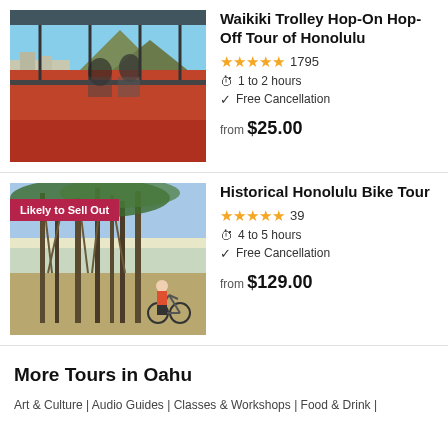[Figure (photo): Open-top double-decker trolley bus with passengers, mountain and cityscape in background]
Waikiki Trolley Hop-On Hop-Off Tour of Honolulu
★★★★☆ 1795 | 1 to 2 hours | Free Cancellation | from $25.00
[Figure (photo): Person with bicycle under large banyan tree in Honolulu park, 'Likely to Sell Out' badge]
Historical Honolulu Bike Tour
★★★★★ 39 | 4 to 5 hours | Free Cancellation | from $129.00
More Tours in Oahu
Art & Culture | Audio Guides | Classes & Workshops | Food & Drink |